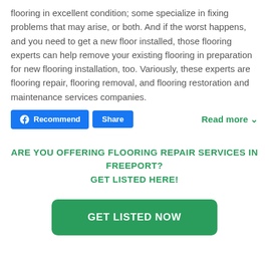flooring in excellent condition; some specialize in fixing problems that may arise, or both. And if the worst happens, and you need to get a new floor installed, those flooring experts can help remove your existing flooring in preparation for new flooring installation, too. Variously, these experts are flooring repair, flooring removal, and flooring restoration and maintenance services companies.
Recommend   Share   Read more
ARE YOU OFFERING FLOORING REPAIR SERVICES IN FREEPORT? GET LISTED HERE!
GET LISTED NOW